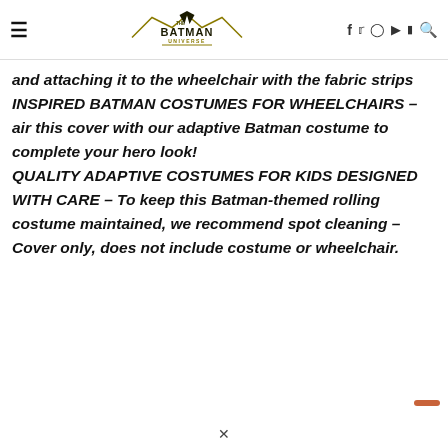The Batman Universe — navigation header with hamburger menu, logo, social icons (f, twitter, instagram, youtube, discord) and search icon
and attaching it to the wheelchair with the fabric strips INSPIRED BATMAN COSTUMES FOR WHEELCHAIRS – air this cover with our adaptive Batman costume to complete your hero look! QUALITY ADAPTIVE COSTUMES FOR KIDS DESIGNED WITH CARE – To keep this Batman-themed rolling costume maintained, we recommend spot cleaning – Cover only, does not include costume or wheelchair.